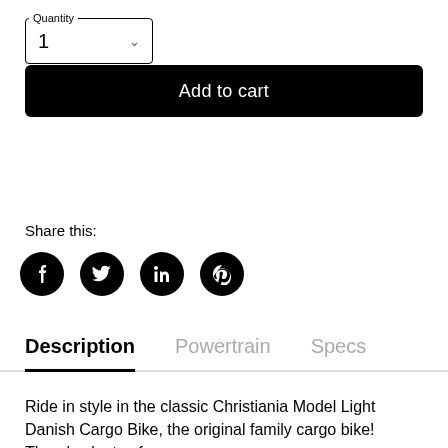Quantity
1
Add to cart
Share this:
[Figure (illustration): Social media share icons: Facebook, Twitter, LinkedIn, Pinterest — white icons on black circles]
Description   Powertrain   Specs
Ride in style in the classic Christiania Model Light Danish Cargo Bike, the original family cargo bike! There's plenty of